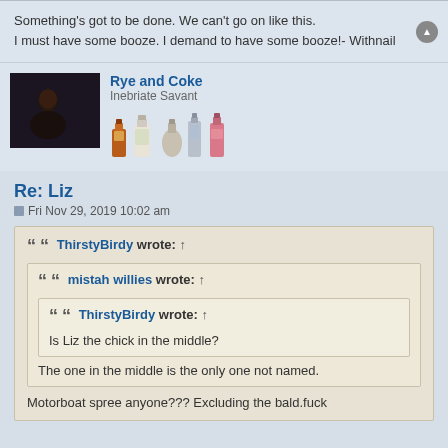Something's got to be done. We can't go on like this. I must have some booze. I demand to have some booze!- Withnail
Rye and Coke
Inebriate Savant
Re: Liz
Fri Nov 29, 2019 10:02 am
ThirstyBirdy wrote: ↑
mistah willies wrote: ↑
ThirstyBirdy wrote: ↑
Is Liz the chick in the middle?
The one in the middle is the only one not named.
Motorboat spree anyone??? Excluding the bald.fuck